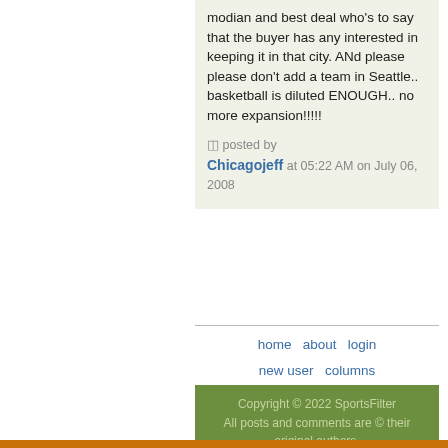modian and best deal who's to say that the buyer has any interested in keeping it in that city. ANd please please don't add a team in Seattle.. basketball is diluted ENOUGH.. no more expansion!!!!!
posted by Chicagojeff at 05:22 AM on July 06, 2008
home   about   login
new user   columns
rss feed   rss spec
published by world readable
Copyright © 2022 SportsFilter All posts and comments are © their original authors.